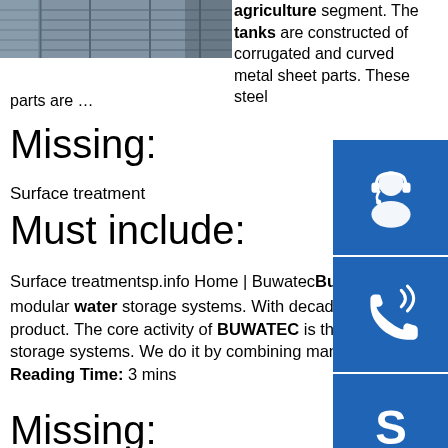[Figure (photo): Partial photo of a corrugated metal tank structure, gray tones]
agriculture segment. The tanks are constructed of corrugated and curved metal sheet parts. These steel parts are …
Missing:
Surface treatment
Must include:
Surface treatmentsp.info Home | BuwatecBuwatec system fully customized and modular. BUWATEC is the sp for modular water storage systems. With decades experience we produce and supply a complete Dutch originated product. The core activity of BUWATEC is the development, production, sale and distribution of complete water storage systems. We do it by combining manufactured corrugated steel panels with the correct tank …Estimated Reading Time: 3 mins
Missing:
[Figure (illustration): Blue square icon with white headset/support agent silhouette]
[Figure (illustration): Blue square icon with white phone/call waves icon]
[Figure (illustration): Blue square icon with white Skype logo]